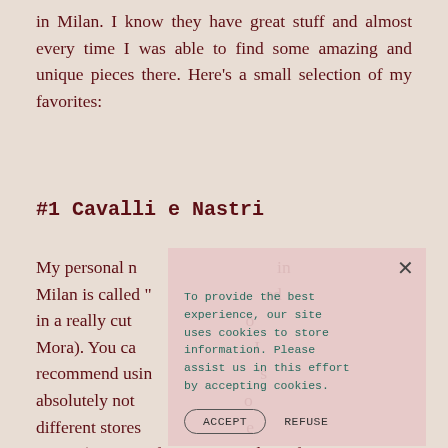in Milan. I know they have great stuff and almost every time I was able to find some amazing and unique pieces there. Here’s a small selection of my favorites:
#1 Cavalli e Nastri
My personal n… in Milan is called “… ed in a really cut… o Mora). You ca… I recommend usin… ’s absolutely not … o different stores … e Nastri”) – one is for women and one for men. Both are furnished in exquisite antique
To provide the best experience, our site uses cookies to store information. Please assist us in this effort by accepting cookies.